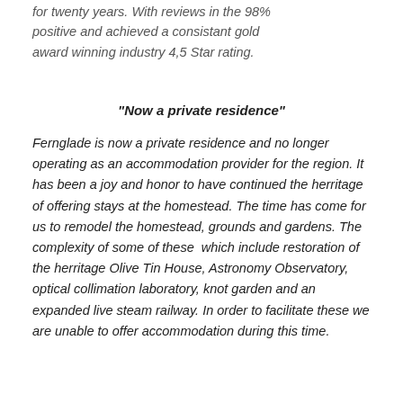for twenty years. With reviews in the 98% positive and achieved a consistant gold award winning industry 4,5 Star rating.
"Now a private residence"
Fernglade is now a private residence and no longer operating as an accommodation provider for the region. It has been a joy and honor to have continued the herritage  of offering stays at the homestead. The time has come for us to remodel the homestead, grounds and gardens. The complexity of some of these  which include restoration of the herritage Olive Tin House, Astronomy Observatory, optical collimation laboratory, knot garden and an expanded live steam railway. In order to facilitate these we are unable to offer accommodation during this time.